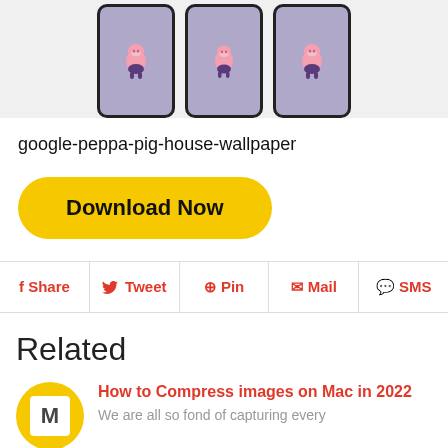[Figure (screenshot): Screenshot showing three smartphone screens displaying a purple Peppa Pig wallpaper]
google-peppa-pig-house-wallpaper
Download Now
Share  Tweet  Pin  Mail  SMS
Related
How to Compress images on Mac in 2022
We are all so fond of capturing every